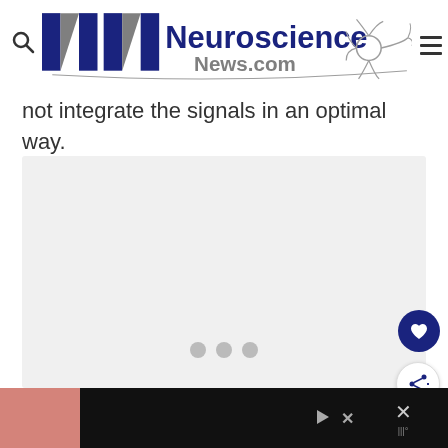Neuroscience News.com
not integrate the signals in an optimal way.
[Figure (other): Gray placeholder content area with three gray dots (carousel/loading indicator) near the bottom center]
[Figure (other): Bottom advertisement strip with black background, pink/salmon colored image on left, play/close controls in center, and close X button on right]